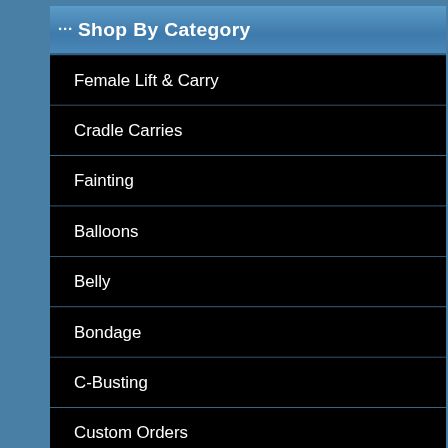··· Shop By Category
Female Lift & Carry
Cradle Carries
Fainting
Balloons
Belly
Bondage
C-Busting
Custom Orders
Cosplay
Female Fighting